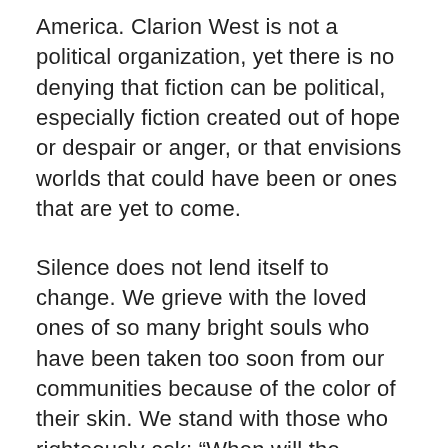America. Clarion West is not a political organization, yet there is no denying that fiction can be political, especially fiction created out of hope or despair or anger, or that envisions worlds that could have been or ones that are yet to come.
Silence does not lend itself to change. We grieve with the loved ones of so many bright souls who have been taken too soon from our communities because of the color of their skin. We stand with those who righteously ask: “When will the killings end? When will justice truly be just?” Our board and staff are committed to doing the work within our organization to become better allies, dismantle white supremacy, and become more actively